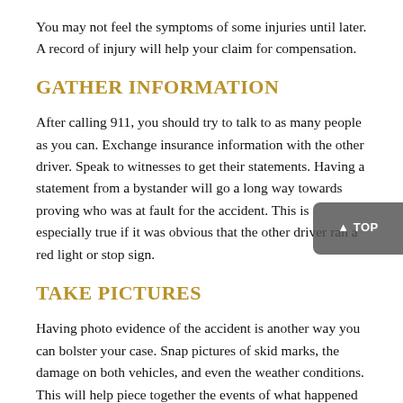You may not feel the symptoms of some injuries until later. A record of injury will help your claim for compensation.
GATHER INFORMATION
After calling 911, you should try to talk to as many people as you can. Exchange insurance information with the other driver. Speak to witnesses to get their statements. Having a statement from a bystander will go a long way towards proving who was at fault for the accident. This is especially true if it was obvious that the other driver ran a red light or stop sign.
TAKE PICTURES
Having photo evidence of the accident is another way you can bolster your case. Snap pictures of skid marks, the damage on both vehicles, and even the weather conditions. This will help piece together the events of what happened along with媒dia content and wit statements.